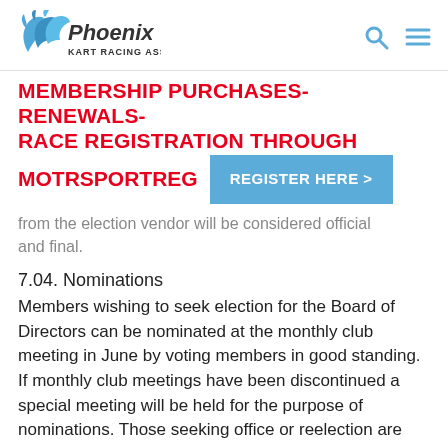Phoenix Kart Racing Association
MEMBERSHIP PURCHASES- RENEWALS- RACE REGISTRATION THROUGH MOTRSPORTREG
[Figure (other): Blue button with white text: REGISTER HERE >]
from the election vendor will be considered official and final.
7.04. Nominations
Members wishing to seek election for the Board of Directors can be nominated at the monthly club meeting in June by voting members in good standing. If monthly club meetings have been discontinued a special meeting will be held for the purpose of nominations. Those seeking office or reelection are